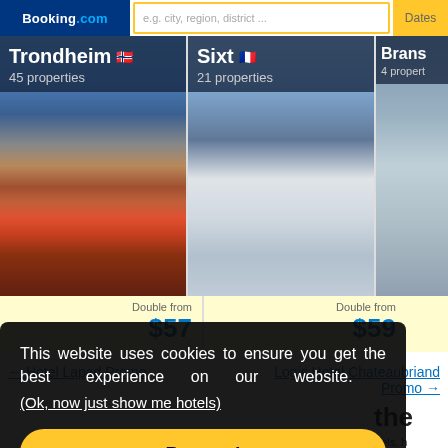Booking.com — search bar with placeholder 'e.g. city, region, district...' and Dates button
[Figure (screenshot): Booking.com property card: Trondheim (Danish flag), 45 properties, photo of colorful buildings along river, Double from $57]
[Figure (screenshot): Booking.com property card: Sixt (French flag), 21 properties, photo of snowy mountain slope, Double from $59]
[Figure (screenshot): Booking.com property card (partial): Brans..., 4 propert..., marina photo]
← Hotel Lapad Promo
Logis Hotel Chateaubriand Promo →
This website uses cookies to ensure you get the best experience on our website.
(Ok, now just show me hotels)
Proceed